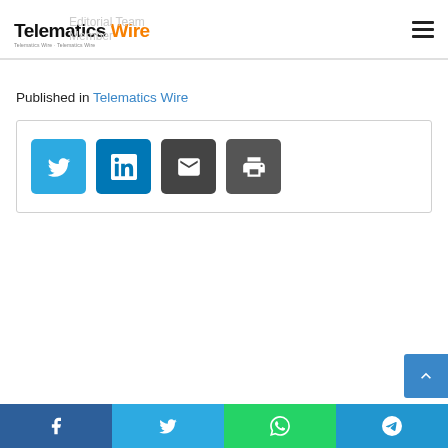Telematics Wire — Editorial Team Member
Published in Telematics Wire
[Figure (infographic): Social sharing buttons: Twitter (blue), LinkedIn (blue), Email (dark grey), Print (dark grey)]
[Figure (infographic): Scroll-to-top button (blue arrow up)]
[Figure (infographic): Bottom share bar with Facebook, Twitter, WhatsApp, Telegram buttons]